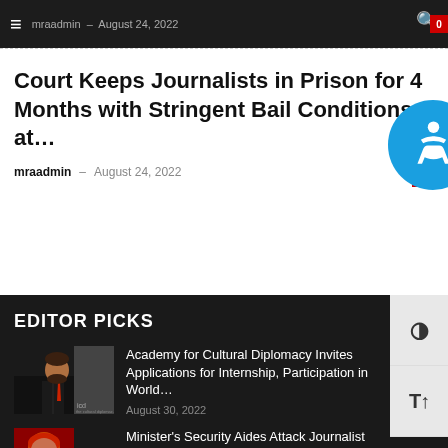mraadmin – August 24, 2022
Court Keeps Journalists in Prison for 4 Months with Stringent Bail Conditions at…
mraadmin – August 24, 2022
EDITOR PICKS
[Figure (photo): Portrait of a man in suit with icd logo, thumbnail for Academy for Cultural Diplomacy article]
Academy for Cultural Diplomacy Invites Applications for Internship, Participation in World… – August 30, 2022
[Figure (photo): Red-toned thumbnail image for Minister's Security Aides Attack Journalist article]
Minister's Security Aides Attack Journalist